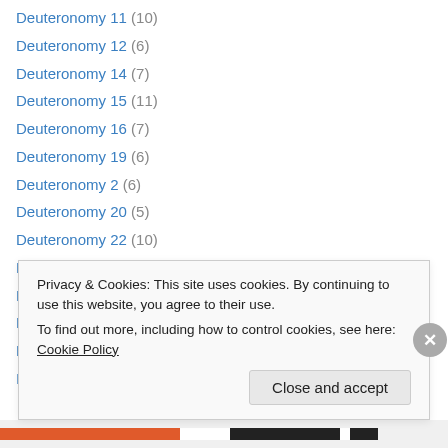Deuteronomy 11 (10)
Deuteronomy 12 (6)
Deuteronomy 14 (7)
Deuteronomy 15 (11)
Deuteronomy 16 (7)
Deuteronomy 19 (6)
Deuteronomy 2 (6)
Deuteronomy 20 (5)
Deuteronomy 22 (10)
Deuteronomy 23 (15)
Deuteronomy 24 (12)
Deuteronomy 25 (14)
Deuteronomy 26 (9)
Deuteronomy 28 (9)
Privacy & Cookies: This site uses cookies. By continuing to use this website, you agree to their use. To find out more, including how to control cookies, see here: Cookie Policy